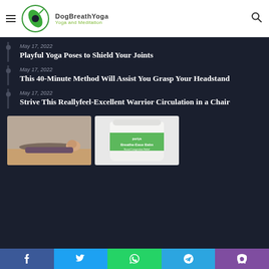DogBreathYoga — Yoga and Meditation
May 17, 2022
Playful Yoga Poses to Shield Your Joints
May 17, 2022
This 40-Minute Method Will Assist You Grasp Your Headstand
May 17, 2022
Strive This Reallyfeel-Excellent Warrior Circulation in a Chair
[Figure (photo): Person lying flat on yoga mat in savasana pose]
[Figure (photo): Puriya Breathe-Ease Balm nasal congestion relief product jar]